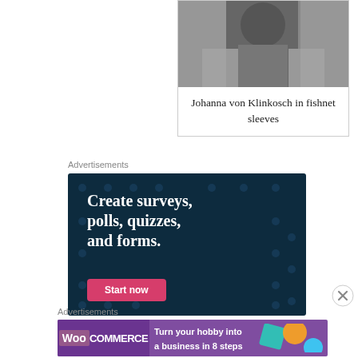[Figure (photo): Black and white vintage photo of Johanna von Klinkosch in fishnet sleeves costume]
Johanna von Klinkosch in fishnet sleeves
Advertisements
[Figure (other): Dark teal advertisement: Create surveys, polls, quizzes, and forms. Start now button.]
Advertisements
[Figure (other): WooCommerce advertisement: Turn your hobby into a business in 8 steps]